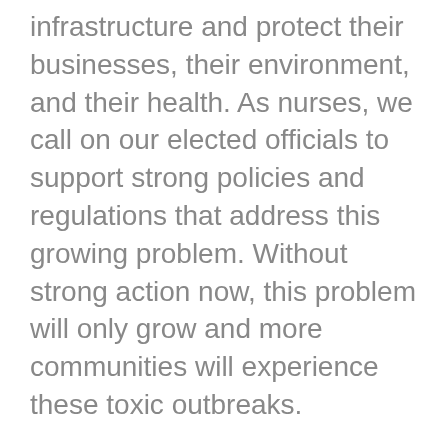infrastructure and protect their businesses, their environment, and their health. As nurses, we call on our elected officials to support strong policies and regulations that address this growing problem. Without strong action now, this problem will only grow and more communities will experience these toxic outbreaks.